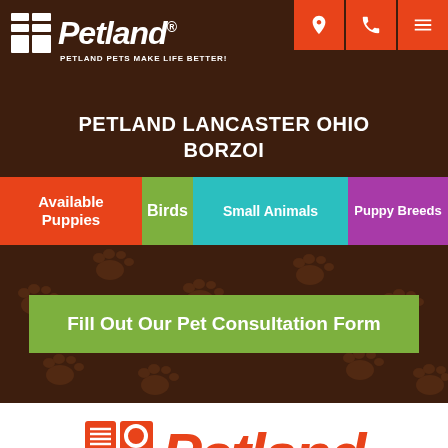[Figure (logo): Petland logo with grid icon and tagline 'Petland Pets Make Life Better!' on dark brown background]
PETLAND LANCASTER OHIO BORZOI
Available Puppies
Birds
Small Animals
Puppy Breeds
Fill Out Our Pet Consultation Form
[Figure (logo): Large Petland logo in orange/red on white background]
Text Us
Need Help?